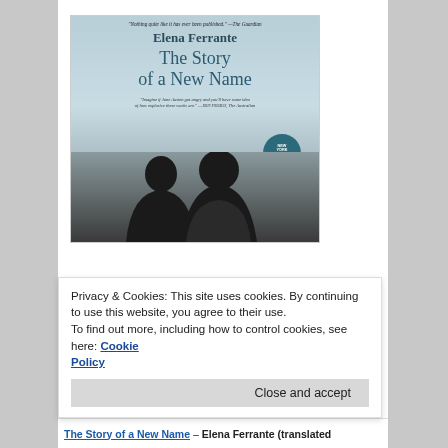[Figure (photo): Book cover of 'The Story of a New Name' by Elena Ferrante. Light blue/grey cover with author name at top, title in large text, two quotes, New York Times Bestseller badge, and a dark silhouette of two figures from behind at the bottom.]
Privacy & Cookies: This site uses cookies. By continuing to use this website, you agree to their use.
To find out more, including how to control cookies, see here: Cookie Policy
Close and accept
The Story of a New Name – Elena Ferrante (translated